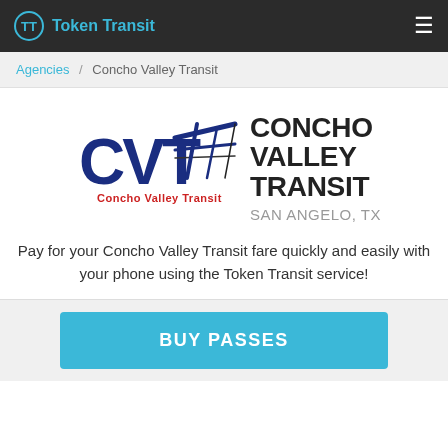Token Transit
Agencies / Concho Valley Transit
[Figure (logo): CVT Concho Valley Transit logo with blue lettering and speed lines graphic]
CONCHO VALLEY TRANSIT
SAN ANGELO, TX
Pay for your Concho Valley Transit fare quickly and easily with your phone using the Token Transit service!
BUY PASSES